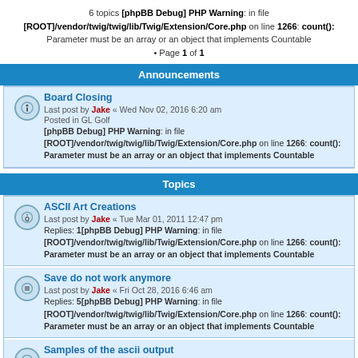6 topics [phpBB Debug] PHP Warning: in file [ROOT]/vendor/twig/twig/lib/Twig/Extension/Core.php on line 1266: count(): Parameter must be an array or an object that implements Countable • Page 1 of 1
Announcements
Board Closing - Last post by Jake « Wed Nov 02, 2016 6:20 am - Posted in GL Golf - [phpBB Debug] PHP Warning: in file [ROOT]/vendor/twig/twig/lib/Twig/Extension/Core.php on line 1266: count(): Parameter must be an array or an object that implements Countable
Topics
ASCII Art Creations - Last post by Jake « Tue Mar 01, 2011 12:47 pm - Replies: 1[phpBB Debug] PHP Warning: in file [ROOT]/vendor/twig/twig/lib/Twig/Extension/Core.php on line 1266: count(): Parameter must be an array or an object that implements Countable
Save do not work anymore - Last post by Jake « Fri Oct 28, 2016 6:46 am - Replies: 5[phpBB Debug] PHP Warning: in file [ROOT]/vendor/twig/twig/lib/Twig/Extension/Core.php on line 1266: count(): Parameter must be an array or an object that implements Countable
Samples of the ascii output - Last post by Jake « Mon Dec 09, 2013 9:29 am - Replies: 3[phpBB Debug] PHP Warning: in file [ROOT]/vendor/twig/twig/lib/Twig/Extension/Core.php on line 1266: count(): Parameter must be an array or an object that implements Countable